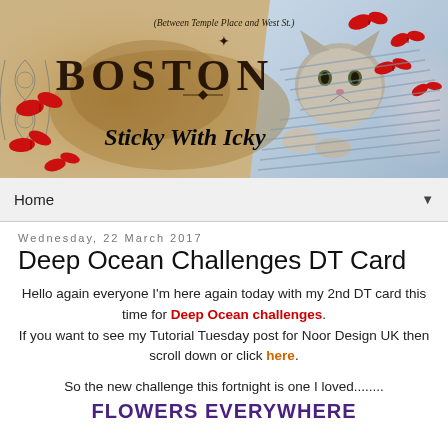[Figure (illustration): Blog banner image with vintage aesthetic showing text 'Boston', 'Sticky With Icky', decorative red butterflies, scrollwork, a kitten peeking out of a denim bag, and subtitle '(Between Temple Place and West St.)' on a sepia/antique background.]
Home ▼
Wednesday, 22 March 2017
Deep Ocean Challenges DT Card
Hello again everyone I'm here again today with my 2nd DT card this time for Deep Ocean challenges. If you want to see my Tutorial Tuesday post for Noor Design UK then scroll down or click here.
So the new challenge this fortnight is one I loved........
FLOWERS EVERYWHERE